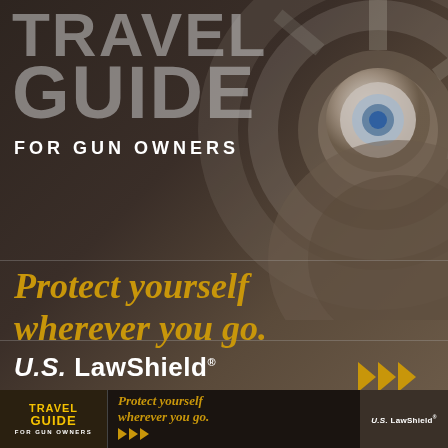[Figure (illustration): Cover page of Travel Guide for Gun Owners by U.S. LawShield. Dark brown background with a blurred metallic wheel/firearm barrel cylinder on the right side. Large faded gray text 'TRAVEL GUIDE' at top left, subtitle 'FOR GUN OWNERS' in white, golden italic tagline 'Protect yourself wherever you go.' in center, U.S. LawShield logo at bottom left with gold triple-arrow icon at bottom right. Thumbnail strip at very bottom showing miniature version of the cover.]
TRAVEL GUIDE FOR GUN OWNERS
Protect yourself wherever you go.
U.S. LawShield®